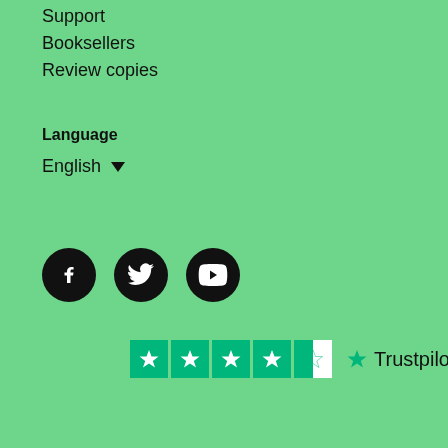Support
Booksellers
Review copies
Language
English ▾
[Figure (infographic): Three social media icons: Facebook, Twitter, YouTube — black circles with white logos]
[Figure (infographic): Trustpilot rating widget showing 4 full green stars and 1 half star, with Trustpilot logo and text]